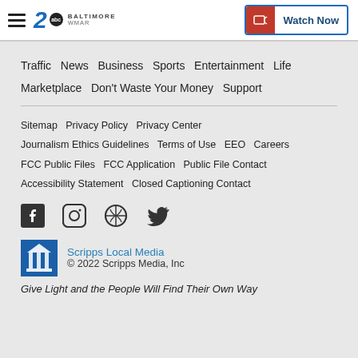WMAR Baltimore — Watch Now
Traffic  News  Business  Sports  Entertainment  Life  Marketplace  Don't Waste Your Money  Support
Sitemap  Privacy Policy  Privacy Center  Journalism Ethics Guidelines  Terms of Use  EEO  Careers  FCC Public Files  FCC Application  Public File Contact  Accessibility Statement  Closed Captioning Contact
[Figure (other): Social media icons: Facebook, Instagram, Pinterest, Twitter]
Scripps Local Media
© 2022 Scripps Media, Inc
Give Light and the People Will Find Their Own Way